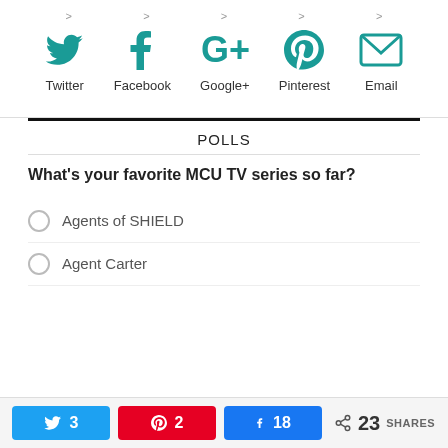[Figure (infographic): Social sharing icons: Twitter, Facebook, Google+, Pinterest, Email with teal/dark cyan color]
POLLS
What's your favorite MCU TV series so far?
Agents of SHIELD
Agent Carter
3  2  18  23 SHARES